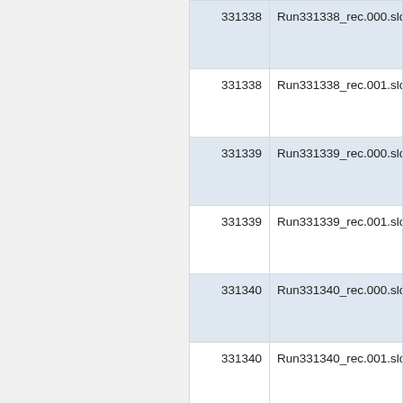| Run | File |
| --- | --- |
| 331338 | Run331338_rec.000.slcio |
| 331338 | Run331338_rec.001.slcio |
| 331339 | Run331339_rec.000.slcio |
| 331339 | Run331339_rec.001.slcio |
| 331340 | Run331340_rec.000.slcio |
| 331340 | Run331340_rec.001.slcio |
| 331341 | Run331341_rec.000.slcio |